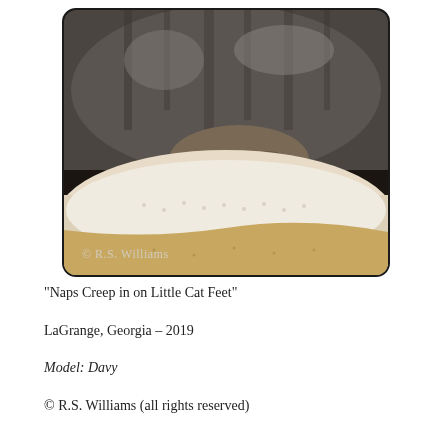[Figure (photo): Close-up photo of a tabby cat sleeping, showing its paws and fur resting on a textured light-colored blanket or towel with a warm golden tint. The cat's claws are visible. A watermark reading '© R.S. Williams' appears in the lower left of the photo. The photo has rounded corners and a dark border.]
“Naps Creep in on Little Cat Feet”
LaGrange, Georgia – 2019
Model: Davy
© R.S. Williams (all rights reserved)